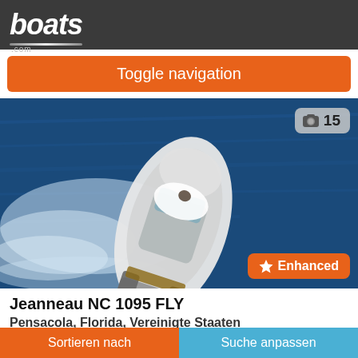boats.com
Toggle navigation
[Figure (photo): Aerial view of a Jeanneau NC 1095 FLY motorboat on blue water, white hull with wake. Photo count badge showing 15. Enhanced badge in bottom right.]
Jeanneau NC 1095 FLY
Pensacola, Florida, Vereinigte Staaten
Sortieren nach | Suche anpassen